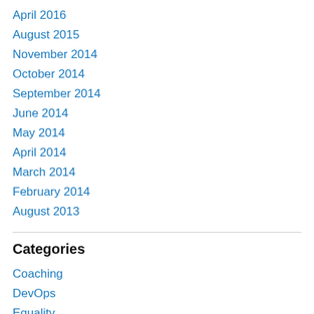April 2016
August 2015
November 2014
October 2014
September 2014
June 2014
May 2014
April 2014
March 2014
February 2014
August 2013
Categories
Coaching
DevOps
Equality
Growth
Learning